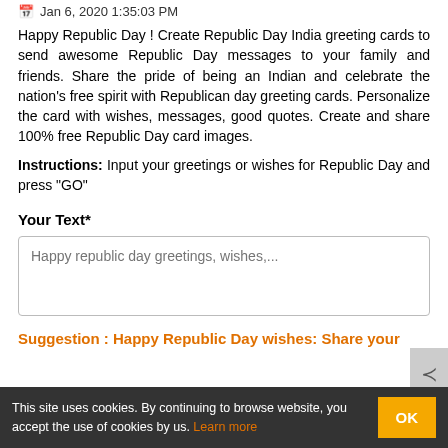Jan 6, 2020 1:35:03 PM
Happy Republic Day ! Create Republic Day India greeting cards to send awesome Republic Day messages to your family and friends. Share the pride of being an Indian and celebrate the nation's free spirit with Republican day greeting cards. Personalize the card with wishes, messages, good quotes. Create and share 100% free Republic Day card images.
Instructions: Input your greetings or wishes for Republic Day and press "GO"
Your Text*
Happy republic day greetings, wishes,...
Suggestion : Happy Republic Day wishes: Share your
This site uses cookies. By continuing to browse website, you accept the use of cookies by us. Learn more